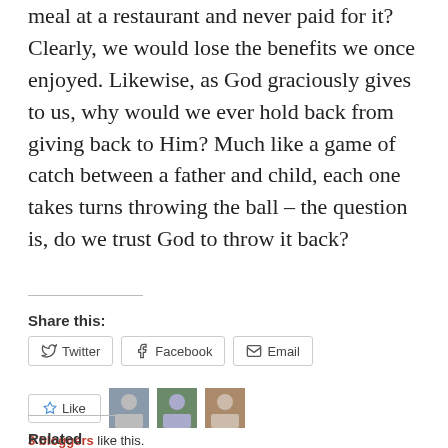meal at a restaurant and never paid for it? Clearly, we would lose the benefits we once enjoyed. Likewise, as God graciously gives to us, why would we ever hold back from giving back to Him? Much like a game of catch between a father and child, each one takes turns throwing the ball – the question is, do we trust God to throw it back?
Share this:
Twitter   Facebook   Email
Like   3 bloggers like this.
Related